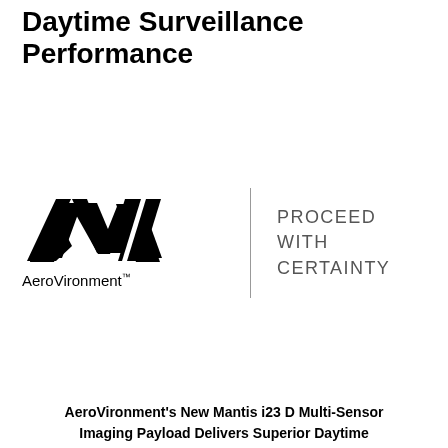Daytime Surveillance Performance
[Figure (logo): AeroVironment logo with stylized AV lettering and 'AeroVironment™' text, alongside a vertical divider line and 'PROCEED WITH CERTAINTY' tagline]
AeroVironment's New Mantis i23 D Multi-Sensor Imaging Payload Delivers Superior Daytime